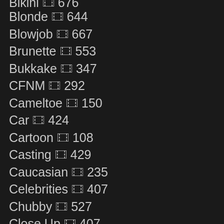Blonde 644
Blowjob 667
Brunette 553
Bukkake 347
CFNM 292
Cameltoe 150
Car 424
Cartoon 108
Casting 429
Caucasian 235
Celebrities 407
Chubby 527
Close Up 407
College 552
Compilation 395
Couple 459
Creampie 544